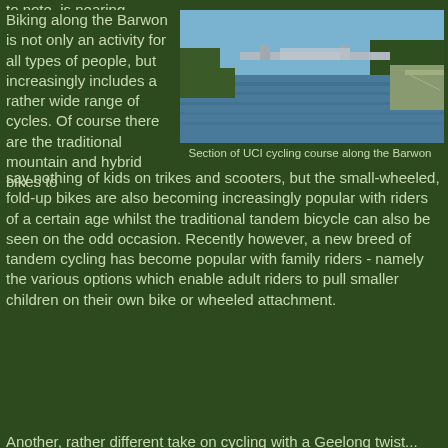to note, is nearing completion.
Biking along the Barwon is not only an activity for all types of people, but increasingly includes a rather wide range of cycles. Of course there are the traditional mountain and hybrid bikes to say nothing of kids on trikes and scooters, but the small-wheeled, fold-up bikes are also becoming increasingly popular with riders of a certain age whilst the traditional tandem bicycle can also be seen on the odd occasion. Recently however, a new breed of tandem cycling has become popular with family riders - namely the various options which enable adult riders to pull smaller children on their own bike or wheeled attachment.
[Figure (photo): River view of the Barwon with a bridge in the background and a pathway/road along the right bank, blue sky above. Section of UCI cycling course along the Barwon.]
Section of UCI cycling course along the Barwon
Another, rather different take on cycling with a Geelong twist...